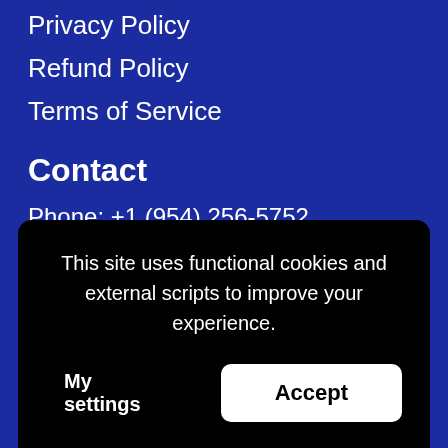Privacy Policy
Refund Policy
Terms of Service
Contact
Phone: +1 (954) 256-5752
Address: 1 E Broward Blvd #700
Fort Lauderdale, FL 33301, USA
Hours: Mon-Fri (10AM to 10PM EST)
This site uses functional cookies and external scripts to improve your experience.
My settings
Accept